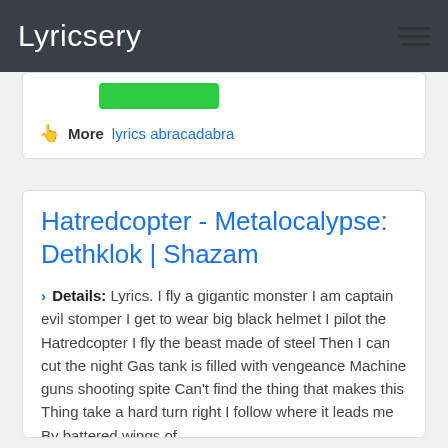Lyricsery
[Figure (other): Green button (partially visible)]
👆 More  lyrics abracadabra
Hatredcopter - Metalocalypse: Dethklok | Shazam
› Details: Lyrics. I fly a gigantic monster I am captain evil stomper I get to wear big black helmet I pilot the Hatredcopter I fly the beast made of steel Then I can cut the night Gas tank is filled with vengeance Machine guns shooting spite Can't find the thing that makes this Thing take a hard turn right I follow where it leads me By battered wings of ...